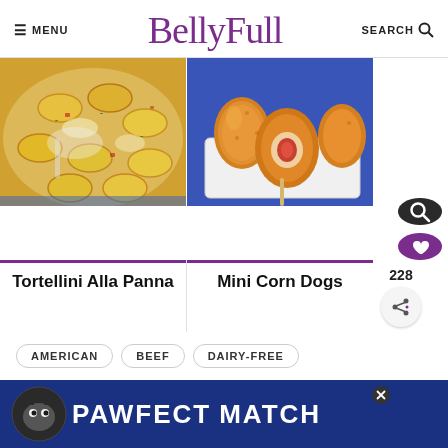☰ MENU | BellyFull | SEARCH 🔍
[Figure (photo): Photo of Tortellini Alla Panna dish - pasta in creamy sauce in a white baking dish with a spoon, on blue cloth background]
[Figure (photo): Photo of Mini Corn Dogs - golden fried corn dogs in a white rectangular container on blue cloth background, one cut open showing hot dog inside]
Tortellini Alla Panna
Mini Corn Dogs
228
AMERICAN
BEEF
DAIRY-FREE
[Figure (photo): Ad banner: PAWFECT MATCH with cat image on dark blue background]